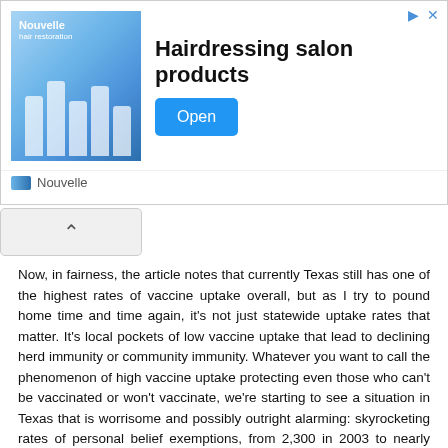[Figure (screenshot): Advertisement banner for hairdressing salon products by Nouvelle, with an Open button]
Now, in fairness, the article notes that currently Texas still has one of the highest rates of vaccine uptake overall, but as I try to pound home time and time again, it's not just statewide uptake rates that matter. It's local pockets of low vaccine uptake that lead to declining herd immunity or community immunity. Whatever you want to call the phenomenon of high vaccine uptake protecting even those who can't be vaccinated or won't vaccinate, we're starting to see a situation in Texas that is worrisome and possibly outright alarming: skyrocketing rates of personal belief exemptions, from 2,300 in 2003 to nearly 45,000 so far this year, more than a 19-fold increase. A graph from the PLoS Medicine article tells the tale:
[Figure (screenshot): Broken/missing image link labeled 'Vaccine graph: Texas']
Looking at that graph, I see little sign that it's starting to plateau, and public health officials agree. The trend looks as though it will